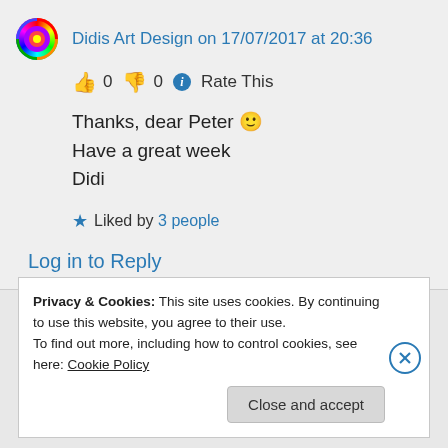Didis Art Design on 17/07/2017 at 20:36
👍 0 👎 0 ℹ Rate This
Thanks, dear Peter 🙂
Have a great week
Didi
★ Liked by 3 people
Log in to Reply
Privacy & Cookies: This site uses cookies. By continuing to use this website, you agree to their use.
To find out more, including how to control cookies, see here: Cookie Policy
Close and accept